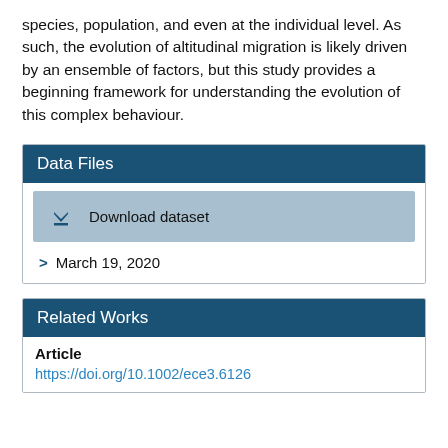species, population, and even at the individual level. As such, the evolution of altitudinal migration is likely driven by an ensemble of factors, but this study provides a beginning framework for understanding the evolution of this complex behaviour.
Data Files
Download dataset
March 19, 2020
Related Works
Article
https://doi.org/10.1002/ece3.6126